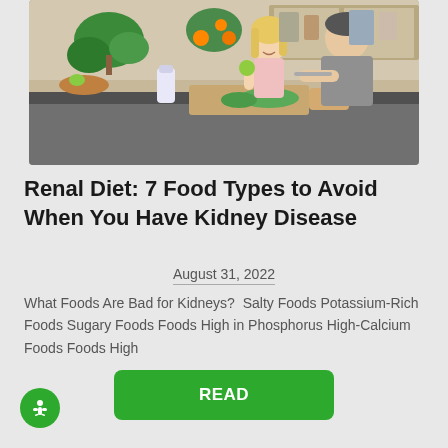[Figure (photo): A couple in a kitchen; a woman smiling holding a green apple and a man cutting vegetables on a cutting board, with kitchen shelves and plants in background]
Renal Diet: 7 Food Types to Avoid When You Have Kidney Disease
August 31, 2022
What Foods Are Bad for Kidneys?  Salty Foods Potassium-Rich Foods Sugary Foods Foods High in Phosphorus High-Calcium Foods Foods High
READ